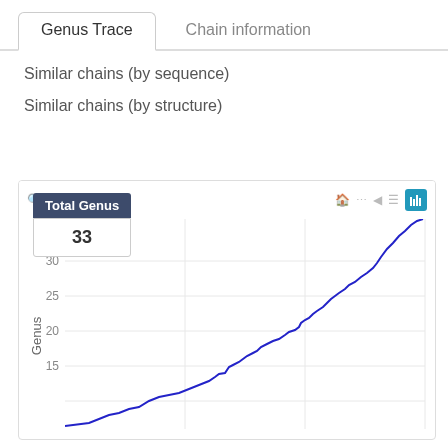Genus Trace
Chain information
Similar chains (by sequence)
Similar chains (by structure)
[Figure (line-chart): A line chart showing Genus Trace with a tooltip showing Total Genus = 33. The line starts near 12 on the left and rises steeply to about 33 on the right, with a stepped/staircase pattern.]